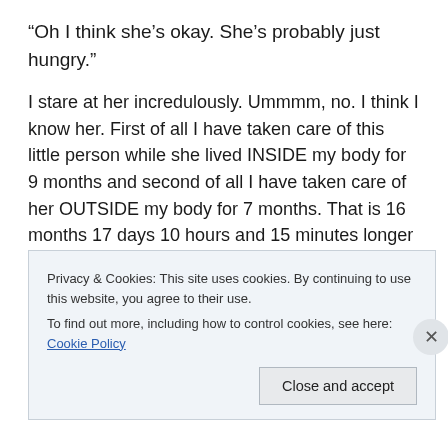“Oh I think she’s okay. She’s probably just hungry.”
I stare at her incredulously. Ummmm, no. I think I know her. First of all I have taken care of this little person while she lived INSIDE my body for 9 months and second of all I have taken care of her OUTSIDE my body for 7 months. That is 16 months 17 days 10 hours and 15 minutes longer than you have taken care of her. Besides, I think by now I know the difference between a cry of pain and one of hunger.
Privacy & Cookies: This site uses cookies. By continuing to use this website, you agree to their use.
To find out more, including how to control cookies, see here: Cookie Policy
Close and accept